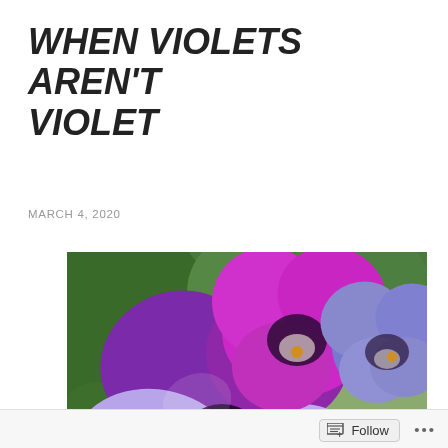WHEN VIOLETS AREN'T VIOLET
MARCH 4, 2020
[Figure (photo): Close-up photograph of purple and violet pansy flowers with green foliage in the background. Flowers display characteristic pansy face markings with dark centers, yellow stamens, and petals ranging from deep magenta-purple to pale lavender-blue.]
Follow ...